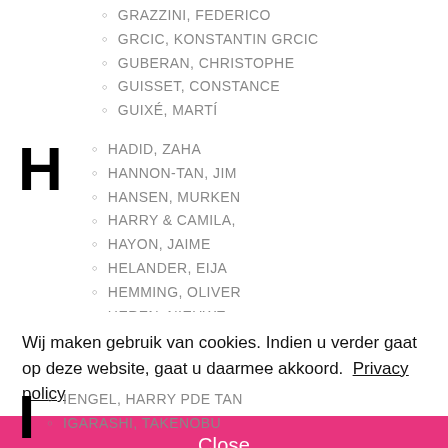GRAZZINI, FEDERICO
GRCIC, KONSTANTIN GRCIC
GUBERAN, CHRISTOPHE
GUISSET, CONSTANCE
GUIXÉ, MARTÍ
HADID, ZAHA
HANNON-TAN, JIM
HANSEN, MURKEN
HARRY & CAMILA,
HAYON, JAIME
HELANDER, EIJA
HEMMING, OLIVER
HEREN, NIEUWE
HERMÉ, PIERRE
HIDEYOSHI NAGOYA
Wij maken gebruik van cookies. Indien u verder gaat op deze website, gaat u daarmee akkoord.  Privacy policy
IENGEL, HARRY PDE TAN
IGARASHI, TAKENOBU